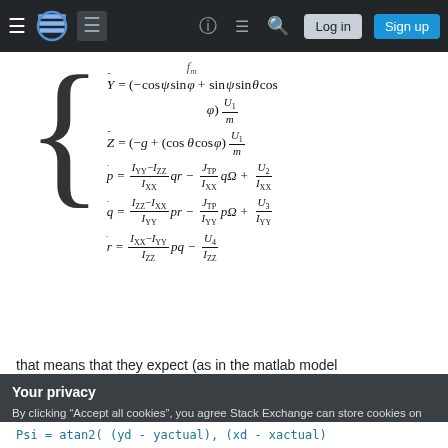Stack Exchange navigation bar with hamburger menu, logo, help, comments, search icons, Log in and Sign up buttons
that means that they expect (as in the matlab model
Your privacy
By clicking "Accept all cookies", you agree Stack Exchange can store cookies on your device and disclose information in accordance with our Cookie Policy.
Accept all cookies   Customize settings
Psi = atan2( (yd - yactual), (xd - xactual)